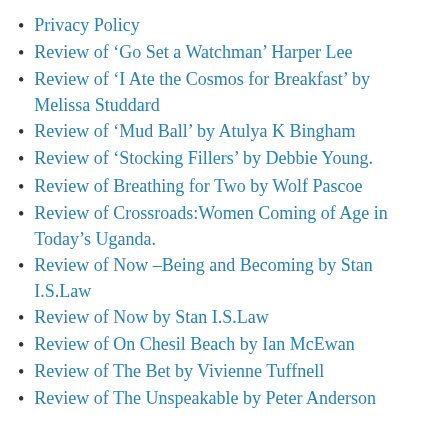Privacy Policy
Review of ‘Go Set a Watchman’ Harper Lee
Review of ‘I Ate the Cosmos for Breakfast’ by Melissa Studdard
Review of ‘Mud Ball’ by Atulya K Bingham
Review of ‘Stocking Fillers’ by Debbie Young.
Review of Breathing for Two by Wolf Pascoe
Review of Crossroads:Women Coming of Age in Today’s Uganda.
Review of Now –Being and Becoming by Stan I.S.Law
Review of Now by Stan I.S.Law
Review of On Chesil Beach by Ian McEwan
Review of The Bet by Vivienne Tuffnell
Review of The Unspeakable by Peter Anderson